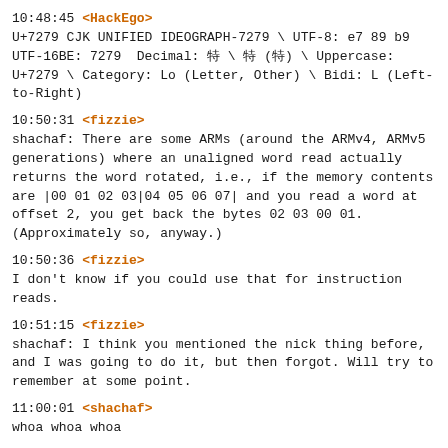10:48:45 <HackEgo>
U+7279 CJK UNIFIED IDEOGRAPH-7279 \ UTF-8: e7 89 b9
UTF-16BE: 7279  Decimal: &#29305; \ &#x7279; (&#x7279;) \ Uppercase:
U+7279 \ Category: Lo (Letter, Other) \ Bidi: L (Left-
to-Right)
10:50:31 <fizzie>
shachaf: There are some ARMs (around the ARMv4, ARMv5
generations) where an unaligned word read actually
returns the word rotated, i.e., if the memory contents
are |00 01 02 03|04 05 06 07| and you read a word at
offset 2, you get back the bytes 02 03 00 01.
(Approximately so, anyway.)
10:50:36 <fizzie>
I don't know if you could use that for instruction
reads.
10:51:15 <fizzie>
shachaf: I think you mentioned the nick thing before,
and I was going to do it, but then forgot. Will try to
remember at some point.
11:00:01 <shachaf>
whoa whoa whoa
11:23:13 <shachaf>
oerjan: do you understand goodwillie functor calculus
twh
11:36:31 -!-
boily has joined.